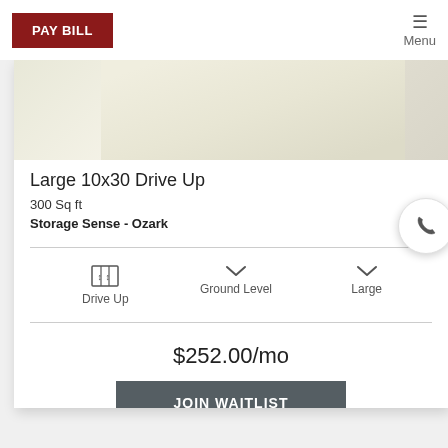PAY BILL | Menu
[Figure (photo): Partial view of a storage unit interior with light beige/cream coloring]
Large 10x30 Drive Up
300 Sq ft
Storage Sense - Ozark
[Figure (infographic): Feature icons: Drive Up icon, Ground Level chevron icon, Large chevron icon]
Drive Up
Ground Level
Large
$252.00/mo
JOIN WAITLIST